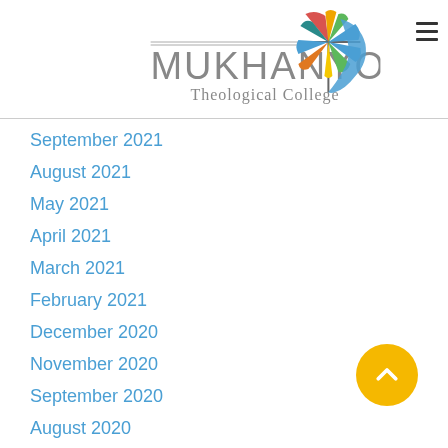[Figure (logo): Mukhanyo Theological College logo with colorful Africa-shaped icon and cross, text reads MUKHANYO Theological College]
September 2021
August 2021
May 2021
April 2021
March 2021
February 2021
December 2020
November 2020
September 2020
August 2020
June 2020
May 2020
March 2020
December 2019